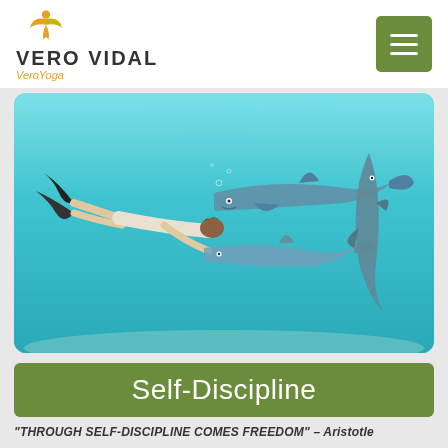[Figure (logo): Vero Vidal VeroYoga logo with stylized orange/yellow leaf/figure icon above text]
[Figure (photo): Underwater photo of a person freediving/swimming alongside three dolphins in clear turquoise water]
Self-Discipline
“THROUGH SELF-DISCIPLINE COMES FREEDOM” – Aristotle